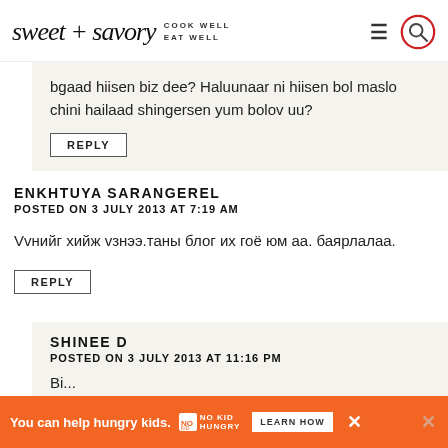sweet + savory COOK WELL EAT WELL
bgaad hiisen biz dee? Haluunaar ni hiisen bol maslo chini hailaad shingersen yum bolov uu?
REPLY
ENKHTUYA SARANGEREL
POSTED ON 3 JULY 2013 AT 7:19 AM
Vvнийг хийж vзнээ.таны блог их гоё юм аа. баярлалаа.
REPLY
SHINEE D
POSTED ON 3 JULY 2013 AT 11:16 PM
You can help hungry kids.
LEARN HOW